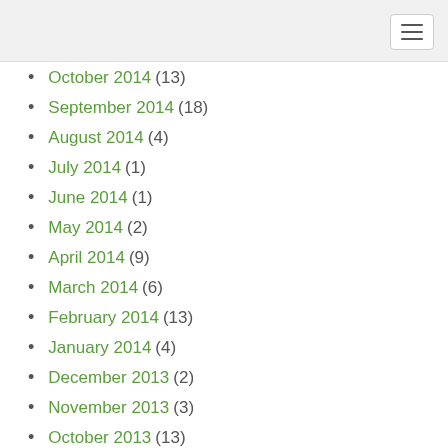Navigation toggle button
October 2014 (13)
September 2014 (18)
August 2014 (4)
July 2014 (1)
June 2014 (1)
May 2014 (2)
April 2014 (9)
March 2014 (6)
February 2014 (13)
January 2014 (4)
December 2013 (2)
November 2013 (3)
October 2013 (13)
April 2013 (1)
March 2013 (1)
September 2012 (1)
August 2012 (1)